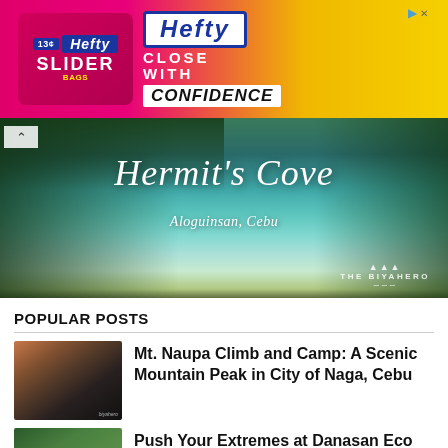[Figure (photo): Hefty Slider Bags advertisement banner — pink and yellow background with Hefty logo and 'CLOSE WITH CONFIDENCE' text]
[Figure (photo): Aerial photo of Hermit's Cove beach in Aloguinsan, Cebu with turquoise water and lush green trees, with The Biyahero watermark]
POPULAR POSTS
[Figure (photo): Thumbnail photo of Mt. Naupa mountain at sunrise with tent silhouette]
Mt. Naupa Climb and Camp: A Scenic Mountain Peak in City of Naga, Cebu
[Figure (photo): Thumbnail photo of Danasan Eco Adventure Park with green trees]
Push Your Extremes at Danasan Eco